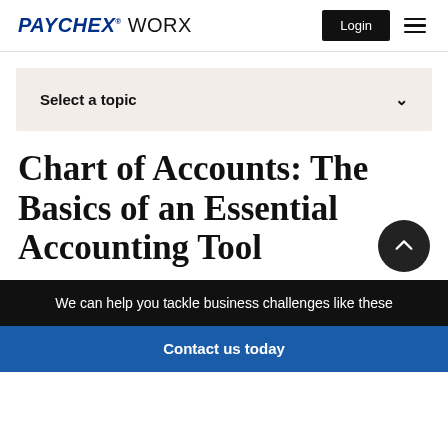PAYCHEX WORX — Login — Menu
Select a topic
Chart of Accounts: The Basics of an Essential Accounting Tool
We can help you tackle business challenges like these
Contact us today